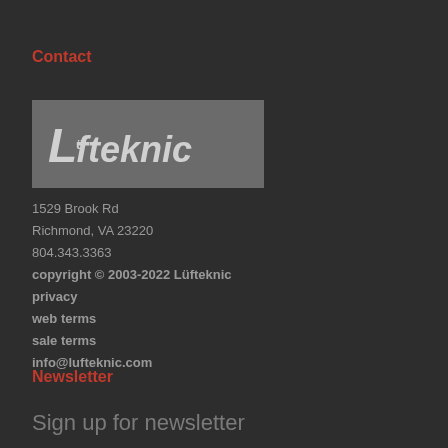Contact
[Figure (logo): Lüfteknic company logo on grey background]
1529 Brook Rd
Richmond, VA 23220
804.343.3363
copyright © 2003-2022 Lüfteknic
privacy
web terms
sale terms
info@lufteknic.com
Newsletter
Sign up for newsletter